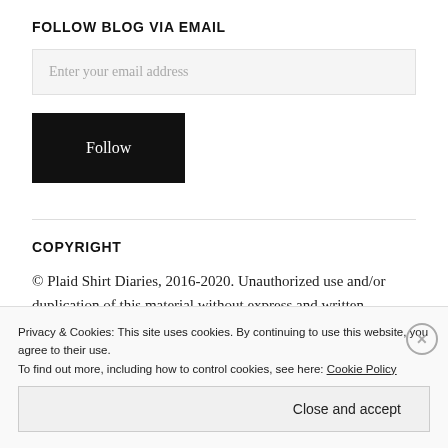FOLLOW BLOG VIA EMAIL
Enter your email address
Follow
COPYRIGHT
© Plaid Shirt Diaries, 2016-2020. Unauthorized use and/or duplication of this material without express and written permission from this site's author is strictly
Privacy & Cookies: This site uses cookies. By continuing to use this website, you agree to their use.
To find out more, including how to control cookies, see here: Cookie Policy
Close and accept